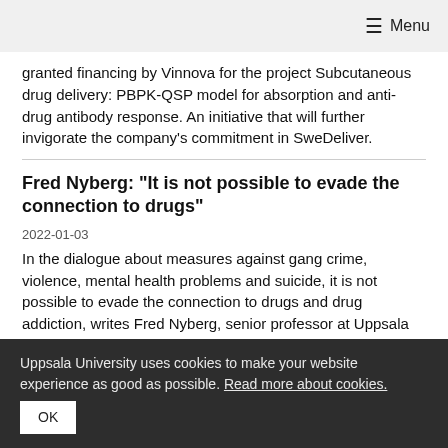≡ Menu
granted financing by Vinnova for the project Subcutaneous drug delivery: PBPK-QSP model for absorption and anti-drug antibody response. An initiative that will further invigorate the company's commitment in SweDeliver.
Fred Nyberg: "It is not possible to evade the connection to drugs"
2022-01-03
In the dialogue about measures against gang crime, violence, mental health problems and suicide, it is not possible to evade the connection to drugs and drug addiction, writes Fred Nyberg, senior professor at Uppsala
Uppsala University uses cookies to make your website experience as good as possible. Read more about cookies.